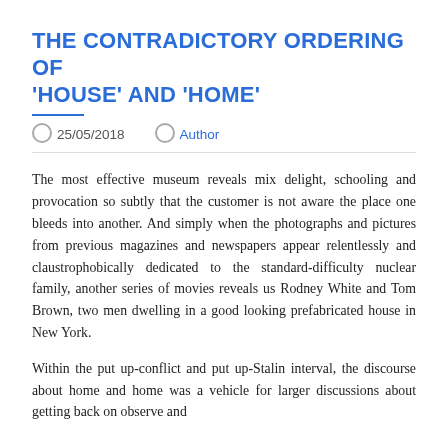THE CONTRADICTORY ORDERING OF 'HOUSE' AND 'HOME'
25/05/2018   Author
The most effective museum reveals mix delight, schooling and provocation so subtly that the customer is not aware the place one bleeds into another. And simply when the photographs and pictures from previous magazines and newspapers appear relentlessly and claustrophobically dedicated to the standard-difficulty nuclear family, another series of movies reveals us Rodney White and Tom Brown, two men dwelling in a good looking prefabricated house in New York.
Within the put up-conflict and put up-Stalin interval, the discourse about home and home was a vehicle for larger discussions about getting back on observe and